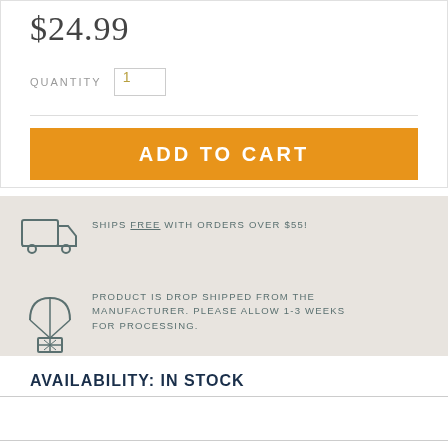$24.99
QUANTITY  1
ADD TO CART
SHIPS FREE WITH ORDERS OVER $55!
PRODUCT IS DROP SHIPPED FROM THE MANUFACTURER. PLEASE ALLOW 1-3 WEEKS FOR PROCESSING.
AVAILABILITY: IN STOCK